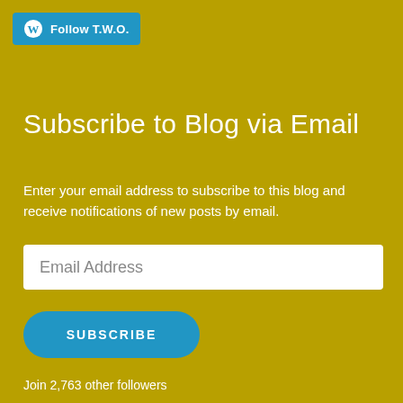Follow T.W.O.
Subscribe to Blog via Email
Enter your email address to subscribe to this blog and receive notifications of new posts by email.
Email Address
SUBSCRIBE
Join 2,763 other followers
Social
[Figure (illustration): Social media icons: Facebook, Instagram, Pinterest]